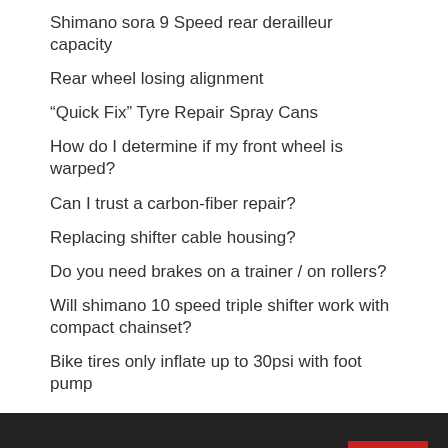Shimano sora 9 Speed rear derailleur capacity
Rear wheel losing alignment
“Quick Fix” Tyre Repair Spray Cans
How do I determine if my front wheel is warped?
Can I trust a carbon-fiber repair?
Replacing shifter cable housing?
Do you need brakes on a trainer / on rollers?
Will shimano 10 speed triple shifter work with compact chainset?
Bike tires only inflate up to 30psi with foot pump
[Figure (other): Dark footer section with a red scroll-to-top button (chevron/arrow up icon) in the bottom-right area, and an 'ad' logo icon centered at the bottom.]